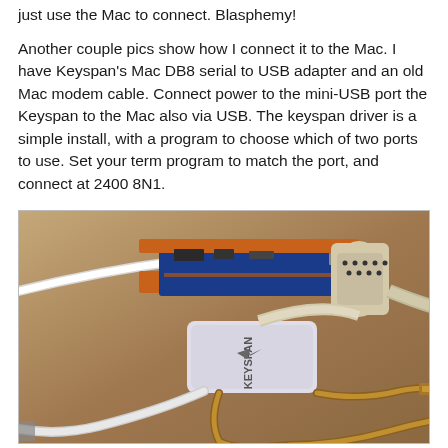just use the Mac to connect. Blasphemy!
Another couple pics show how I connect it to the Mac. I have Keyspan's Mac DB8 serial to USB adapter and an old Mac modem cable. Connect power to the mini-USB port the Keyspan to the Mac also via USB. The keyspan driver is a simple install, with a program to choose which of two ports to use. Set your term program to match the port, and connect at 2400 8N1.
[Figure (photo): Photo of a Keyspan USB serial adapter connected to a circuit board (Arduino/microcontroller with orange pin headers and a blue board), a DB-9 serial cable, and USB cables on a brown surface.]